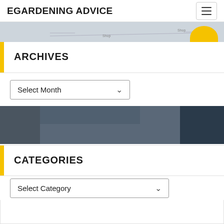EGARDENING ADVICE
ARCHIVES
Select Month
CATEGORIES
Select Category